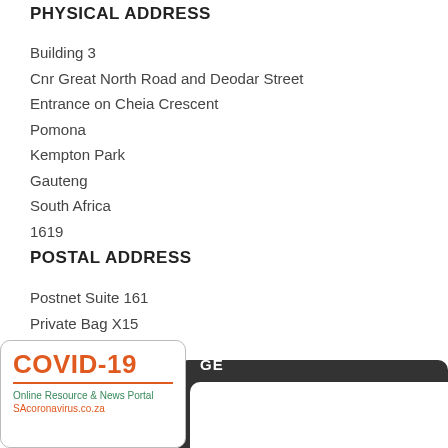PHYSICAL ADDRESS
Building 3
Cnr Great North Road and Deodar Street
Entrance on Cheia Crescent
Pomona
Kempton Park
Gauteng
South Africa
1619
POSTAL ADDRESS
Postnet Suite 161
Private Bag X15
Aston Manor
Kempton Park
South Africa
1630
[Figure (infographic): COVID-19 Online Resource & News Portal banner box with orange COVID-19 title, green subtitle 'Online Resource & News Portal' and orange URL 'SAcoronavirus.co.za'. Dark bar to the right with white rounded rectangle inside and partial text 'GE'.]